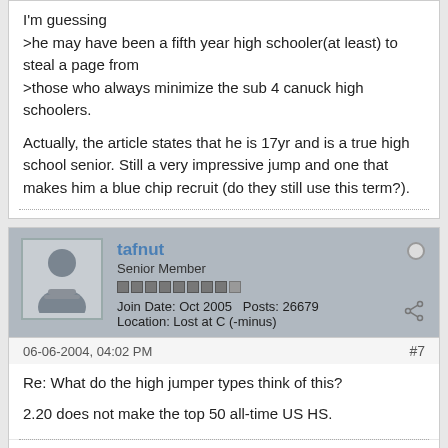I'm guessing
>he may have been a fifth year high schooler(at least) to steal a page from
>those who always minimize the sub 4 canuck high schoolers.

Actually, the article states that he is 17yr and is a true high school senior. Still a very impressive jump and one that makes him a blue chip recruit (do they still use this term?).
tafnut
Senior Member
Join Date: Oct 2005   Posts: 26679
Location: Lost at C (-minus)
06-06-2004, 04:02 PM
#7
Re: What do the high jumper types think of this?

2.20 does not make the top 50 all-time US HS.
MJD
Senior Member